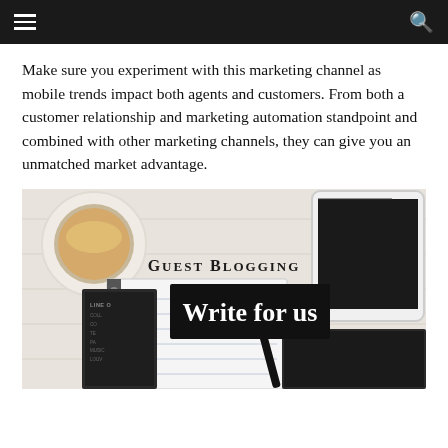navigation header with menu and search icons
Make sure you experiment with this marketing channel as mobile trends impact both agents and customers. From both a customer relationship and marketing automation standpoint and combined with other marketing channels, they can give you an unmatched market advantage.
[Figure (photo): Guest Blogging - Write for us promotional image showing a flat-lay of a desk with coffee cup, tablet, spiral notebook, and pens on a white wood surface, with text 'GUEST BLOGGING' and 'Write for us' overlaid]